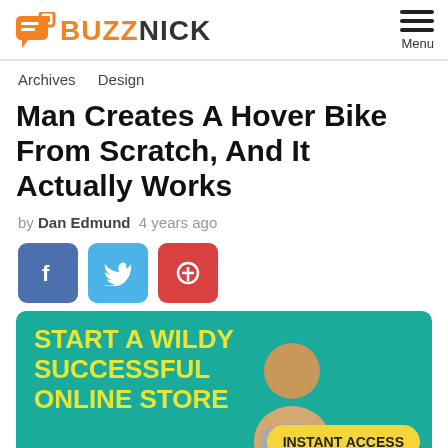BUZZNICK — Menu
Archives   Design
Man Creates A Hover Bike From Scratch, And It Actually Works
by Dan Edmund  4 years ago
[Figure (other): Social share buttons: Facebook (blue), Twitter (light blue), Pinterest (red)]
[Figure (other): Advertisement banner with teal background: 'START A WILDY SUCCESSFUL ONLINE STORE' in yellow bold text, man's portrait on right, yellow pill button saying 'INSTANT ACCESS']